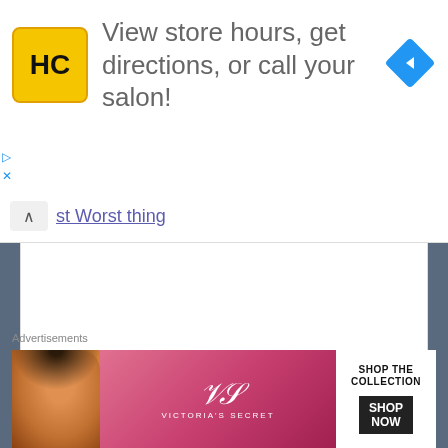[Figure (screenshot): Advertisement banner: HC salon logo (yellow square with black HC letters), text 'View store hours, get directions, or call your salon!', blue diamond navigation icon on right. Small play and close icons on left side.]
st Worst thing
[Figure (screenshot): White content box area, partially visible navigation bar with up arrow and partial link text 'st Worst thing']
CONVERSATION CLASSES
Speaking Topic: Could you...?
Advertisements
[Figure (screenshot): Victoria's Secret advertisement banner with model photo, VS logo, 'SHOP THE COLLECTION' text, and 'SHOP NOW' button]